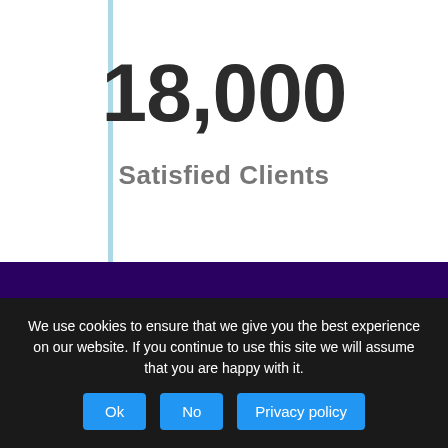18,000
Satisfied Clients
MoneyBoat.co.uk
Evergreen Finance London Ltd
We use cookies to ensure that we give you the best experience on our website. If you continue to use this site we will assume that you are happy with it.
Ok
No
Privacy policy